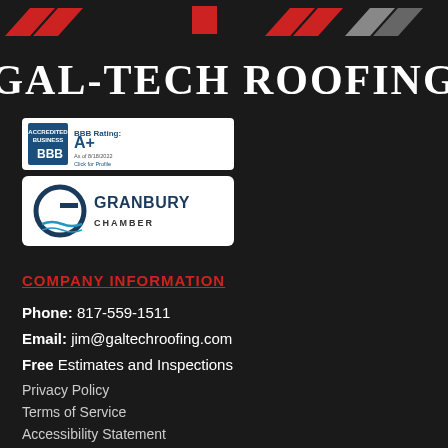[Figure (logo): GAL-TECH ROOFING company logo with red and grey chevron/arrow shapes at top on dark background, company name in large white serif text]
[Figure (logo): BBB Accredited Business badge showing BBB Rating: A+ as of 8/18/2022, Click for Profile]
[Figure (logo): Granbury Chamber of Commerce badge with G logo and wave graphic]
COMPANY INFORMATION
Phone: 817-559-1511
Email: jim@galtechroofing.com
Free Estimates and Inspections
Privacy Policy
Terms of Service
Accessibility Statement